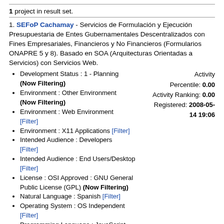1 project in result set.
1. SEFoP Cachamay - Servicios de Formulación y Ejecución Presupuestaria de Entes Gubernamentales Descentralizados con Fines Empresariales, Financieros y No Financieros (Formularios ONAPRE 5 y 8). Basado en SOA (Arquitecturas Orientadas a Servicios) con Servicios Web.
Development Status : 1 - Planning (Now Filtering)
Environment : Other Environment (Now Filtering)
Environment : Web Environment [Filter]
Environment : X11 Applications [Filter]
Intended Audience : Developers [Filter]
Intended Audience : End Users/Desktop [Filter]
License : OSI Approved : GNU General Public License (GPL) (Now Filtering)
Natural Language : Spanish [Filter]
Operating System : OS Independent [Filter]
Programming Language : JavaScript [Filter]
Programming Language : PHP [Filter]
Activity Percentile: 0.00
Activity Ranking: 0.00
Registered: 2008-05-14 19:06